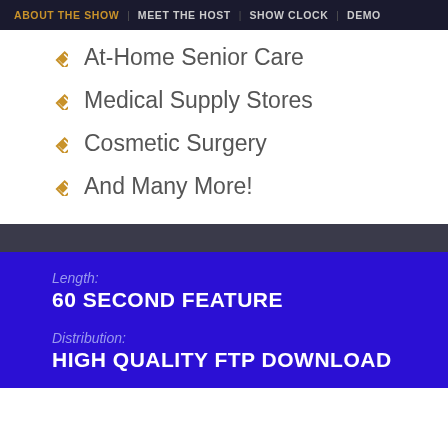ABOUT THE SHOW  MEET THE HOST  SHOW CLOCK  DEMO
At-Home Senior Care
Medical Supply Stores
Cosmetic Surgery
And Many More!
Length:
60 SECOND FEATURE
Distribution:
HIGH QUALITY FTP DOWNLOAD